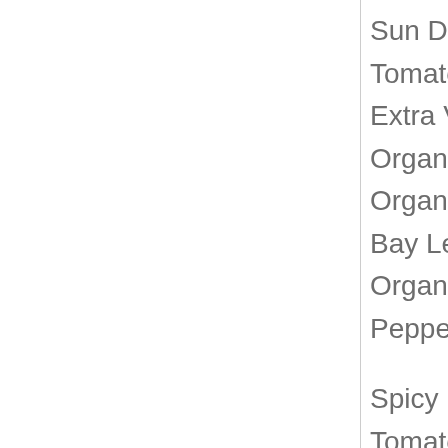Sun Dried Tomatoes Ingredients: Organic Dried Tomatoes (Also Used for Coloring), Organic Extra Virgin Olive Oil, Organic Sunflower Oil, Organic Tomato Concentrate, Organic Garlic, Organic Tomato Powder, Organic Basil, Organic Bay Leaf, Unrefined Mediterranean Sea Salt, Organic Lemon Concentrate, Organic Chili Pepper.
Spicy Harissa Ingredients:  Organic Dried Tomatoes (Also Used for Coloring), Organic Extra Virgin Olive Oil, Organic Sunflower Oil, Organic Tomato Concentrate,